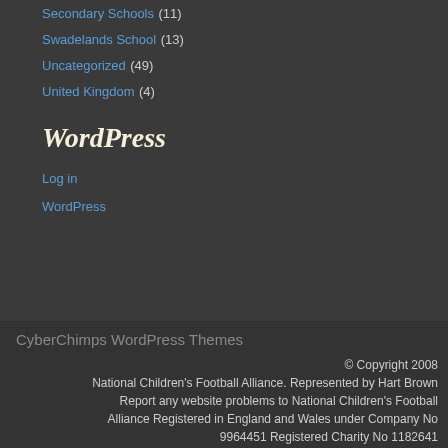Secondary Schools (11)
Swadelands School (13)
Uncategorized (49)
United Kingdom (4)
WordPress
Log in
WordPress
CyberChimps WordPress Themes
© Copyright 2008 National Children's Football Alliance. Represented by Hart Brown Report any website problems to National Children's Football Alliance Registered in England and Wales under Company No 9964451 Registered Charity No 1182641